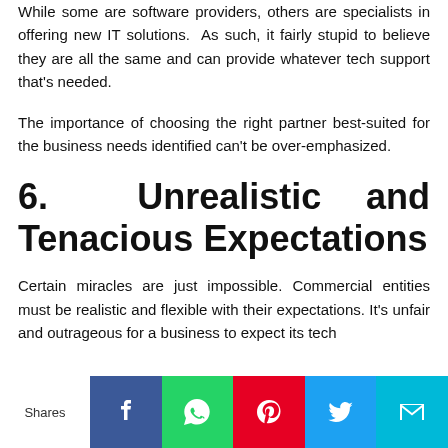While some are software providers, others are specialists in offering new IT solutions. As such, it fairly stupid to believe they are all the same and can provide whatever tech support that's needed.
The importance of choosing the right partner best-suited for the business needs identified can't be over-emphasized.
6.  Unrealistic and Tenacious Expectations
Certain miracles are just impossible. Commercial entities must be realistic and flexible with their expectations. It's unfair and outrageous for a business to expect its tech
Shares [Facebook] [WhatsApp] [Pinterest] [Twitter] [Email]